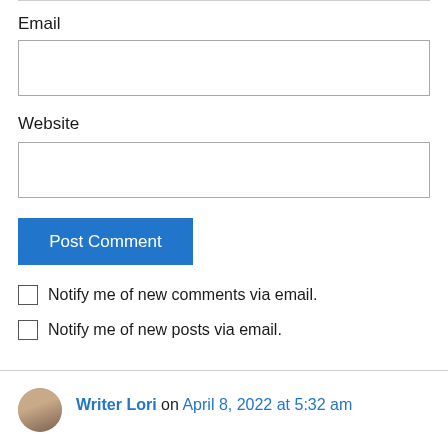Email
[Figure (screenshot): Empty text input box for Email field]
Website
[Figure (screenshot): Empty text input box for Website field]
Post Comment
Notify me of new comments via email.
Notify me of new posts via email.
Writer Lori on April 8, 2022 at 5:32 am